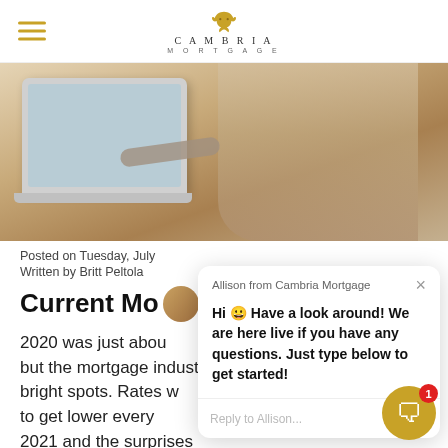Cambria Mortgage
[Figure (photo): Person working at a laptop on a desk, holding a pen, viewed from the side at an angle. Warm neutral tones.]
Posted on Tuesday, July
Written by Britt Peltola
Current Mo...a
2020 was just abou... history for many reasons, but the mortgage industry provided one of very few bright spots. Rates w... all time lows and seemed to get lower every... We are now halfway through 2021 and the surprises
[Figure (screenshot): Live chat overlay from Allison at Cambria Mortgage saying: Hi 😀 Have a look around! We are here live if you have any questions. Just type below to get started! With reply input field.]